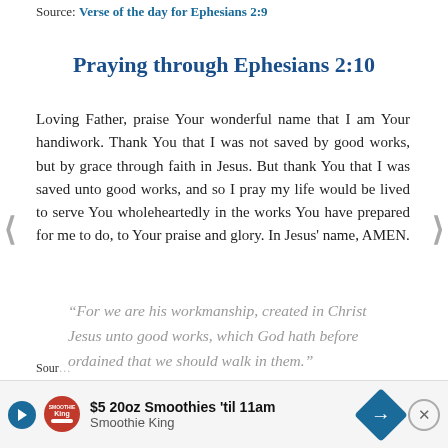Source: Verse of the day for Ephesians 2:9
Praying through Ephesians 2:10
Loving Father, praise Your wonderful name that I am Your handiwork. Thank You that I was not saved by good works, but by grace through faith in Jesus. But thank You that I was saved unto good works, and so I pray my life would be lived to serve You wholeheartedly in the works You have prepared for me to do, to Your praise and glory. In Jesus' name, AMEN.
“For we are his workmanship, created in Christ Jesus unto good works, which God hath before ordained that we should walk in them.” (Ephesians 2:10)
Source
[Figure (other): Advertisement banner for Smoothie King: $5 20oz Smoothies 'til 11am, with play button, Smoothie King logo, navigation arrow, and close button]